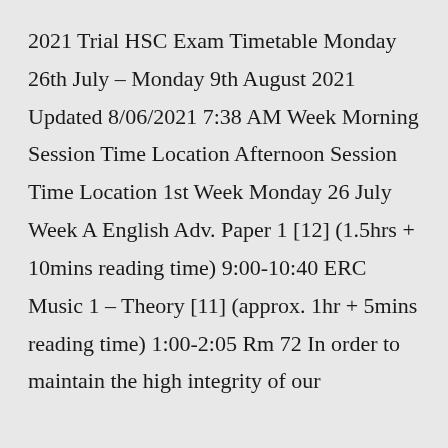2021 Trial HSC Exam Timetable Monday 26th July – Monday 9th August 2021 Updated 8/06/2021 7:38 AM Week Morning Session Time Location Afternoon Session Time Location 1st Week Monday 26 July Week A English Adv. Paper 1 [12] (1.5hrs + 10mins reading time) 9:00-10:40 ERC Music 1 – Theory [11] (approx. 1hr + 5mins reading time) 1:00-2:05 Rm 72 In order to maintain the high integrity of our